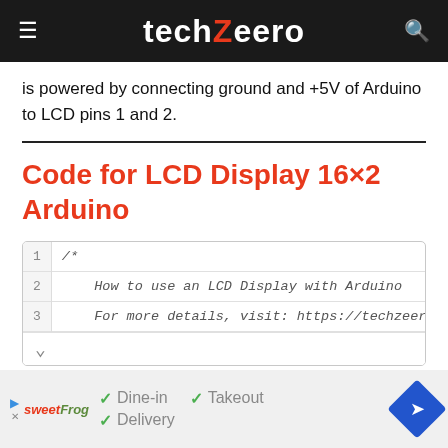techZeero
is powered by connecting ground and +5V of Arduino to LCD pins 1 and 2.
Code for LCD Display 16×2 Arduino
[Figure (screenshot): Code block showing Arduino sketch with line numbers 1, 2, 3. Line 1: /*, Line 2: How to use an LCD Display with Arduino, Line 3: For more details, visit: https://techzeero.com/]
[Figure (infographic): Advertisement for sweetFrog showing Dine-in, Takeout, and Delivery options with checkmarks, and a blue navigation arrow icon]